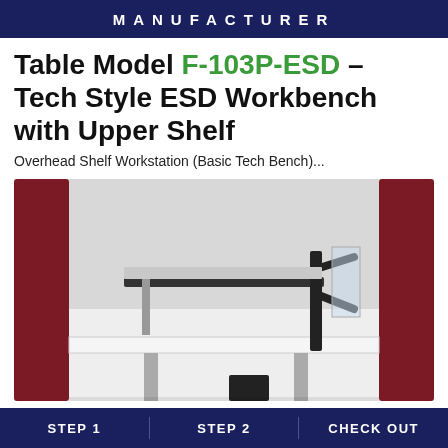MANUFACTURER
Table Model F-103P-ESD – Tech Style ESD Workbench with Upper Shelf
Overhead Shelf Workstation (Basic Tech Bench)...
[Figure (photo): Photo of a Tech Style ESD Workbench with upper shelf. The workbench has dark red side panels, a white table surface, and a black adjustable upper shelf bracket/arm assembly mounted on the right side with a monitor/display arm. A grey shelf is visible above the work surface.]
STEP 1   STEP 2   CHECK OUT